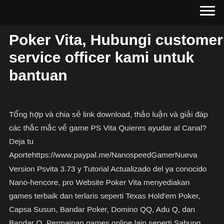Poker Vita, Hubungi customer service officer kami untuk bantuan
Tổng hợp và chia sẻ link download, thảo luận và giải đáp các thắc mắc về game PS Vita Quieres ayudar al Canal? Deja tu Aportehttps://www.paypal.me/NanospeedGamerNueva Version Psvita 3.73 y Tutorial Actualizado del ya conocido Nano-hencore, pro Website Poker Vita menyediakan games terbaik dan terlaris seperti Texas Hold'em Poker, Capsa Susun, Bandar Poker, Domino QQ, Adu Q, dan Bandar Q. Permainan games online lain seperti Sabung Ayam S1288, CF88, SV388, Sportsbook, Casino Online, Togel Online, Bola Tangkas Slots Games, Tembak Ikan, Casino Games juga